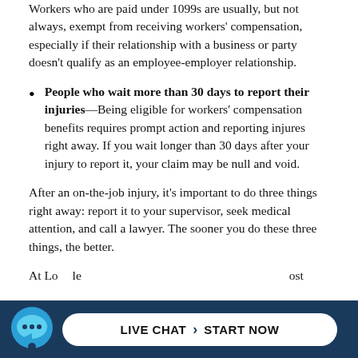Workers who are paid under 1099s are usually, but not always, exempt from receiving workers' compensation, especially if their relationship with a business or party doesn't qualify as an employee-employer relationship.
People who wait more than 30 days to report their injuries—Being eligible for workers' compensation benefits requires prompt action and reporting injures right away. If you wait longer than 30 days after your injury to report it, your claim may be null and void.
After an on-the-job injury, it's important to do three things right away: report it to your supervisor, seek medical attention, and call a lawyer. The sooner you do these three things, the better.
At Lo... ...ost
LIVE CHAT › START NOW